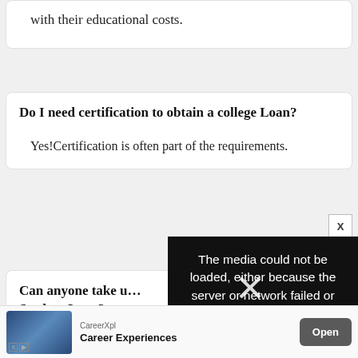with their educational costs.
Do I need certification to obtain a college Loan?
Yes!Certification is often part of the requirements.
Can anyone take u... Student Loan?
[Figure (screenshot): Media error overlay with text: The media could not be loaded, either because the server or network failed or because the]
[Figure (screenshot): Advertisement banner: CareerXpl - Career Experiences - Open button]